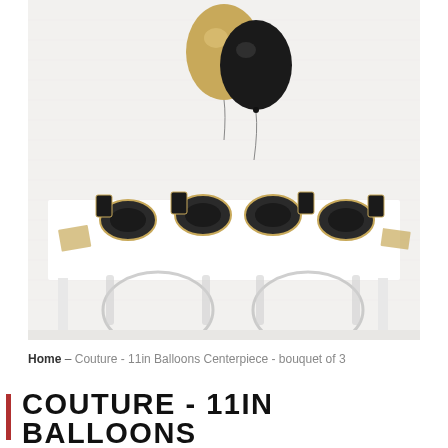[Figure (photo): A styled party table with black and gold tableware (hexagonal plates, cups, napkins) and clear acrylic chairs. Two balloons float above the table — one gold/tan and one black — against a white painted brick wall background.]
Home — Couture - 11in Balloons Centerpiece - bouquet of 3
COUTURE - 11IN BALLOONS